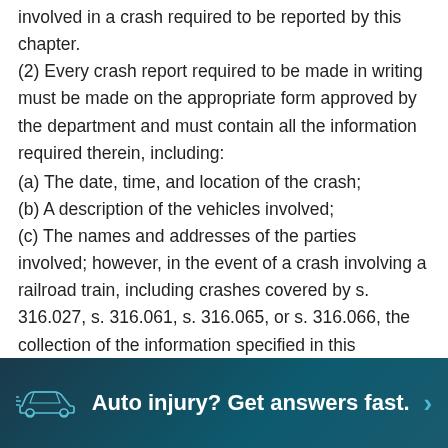involved in a crash required to be reported by this chapter. (2) Every crash report required to be made in writing must be made on the appropriate form approved by the department and must contain all the information required therein, including:
(a) The date, time, and location of the crash;
(b) A description of the vehicles involved;
(c) The names and addresses of the parties involved; however, in the event of a crash involving a railroad train, including crashes covered by s. 316.027, s. 316.061, s. 316.065, or s. 316.066, the collection of the information specified in this paragraph shall be at the discretion of the law enforcement officer having jurisdiction to investigate the crash;
Auto injury? Get answers fast.